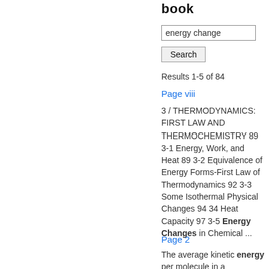book
energy change
Search
Results 1-5 of 84
Page viii
3 / THERMODYNAMICS: FIRST LAW AND THERMOCHEMISTRY 89 3-1 Energy, Work, and Heat 89 3-2 Equivalence of Energy Forms-First Law of Thermodynamics 92 3-3 Some Isothermal Physical Changes 94 34 Heat Capacity 97 3-5 Energy Changes in Chemical ...
Page 2
The average kinetic energy per molecule in a